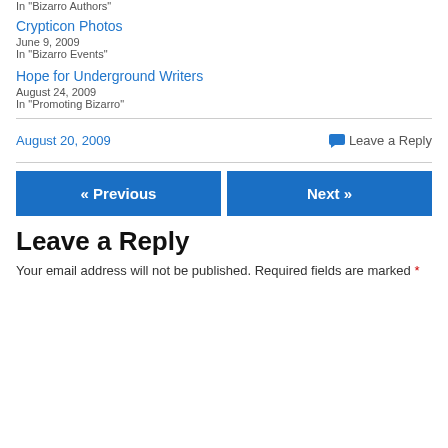In "Bizarro Authors"
Crypticon Photos
June 9, 2009
In "Bizarro Events"
Hope for Underground Writers
August 24, 2009
In "Promoting Bizarro"
August 20, 2009
Leave a Reply
« Previous
Next »
Leave a Reply
Your email address will not be published. Required fields are marked *